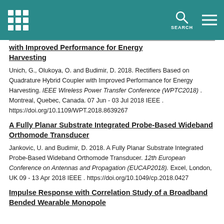SEARCH
with Improved Performance for Energy Harvesting
Unich, G., Olukoya, O. and Budimir, D. 2018. Rectifiers Based on Quadrature Hybrid Coupler with Improved Performance for Energy Harvesting. IEEE Wireless Power Transfer Conference (WPTC2018) . Montreal, Quebec, Canada. 07 Jun - 03 Jul 2018 IEEE . https://doi.org/10.1109/WPT.2018.8639267
A Fully Planar Substrate Integrated Probe-Based Wideband Orthomode Transducer
Jankovic, U. and Budimir, D. 2018. A Fully Planar Substrate Integrated Probe-Based Wideband Orthomode Transducer. 12th European Conference on Antennas and Propagation (EUCAP2018). Excel, London, UK 09 - 13 Apr 2018 IEEE . https://doi.org/10.1049/cp.2018.0427
Impulse Response with Correlation Study of a Broadband Bended Wearable Monopole Antenna